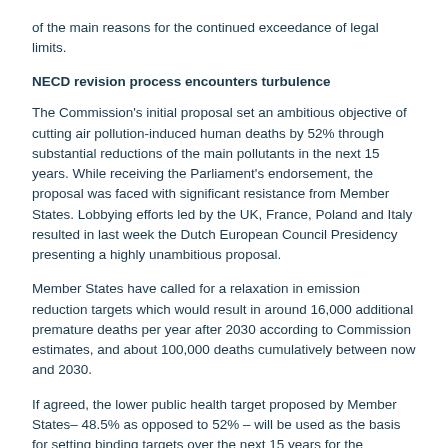of the main reasons for the continued exceedance of legal limits.
NECD revision process encounters turbulence
The Commission's initial proposal set an ambitious objective of cutting air pollution-induced human deaths by 52% through substantial reductions of the main pollutants in the next 15 years. While receiving the Parliament's endorsement, the proposal was faced with significant resistance from Member States. Lobbying efforts led by the UK, France, Poland and Italy resulted in last week the Dutch European Council Presidency presenting a highly unambitious proposal.
Member States have called for a relaxation in emission reduction targets which would result in around 16,000 additional premature deaths per year after 2030 according to Commission estimates, and about 100,000 deaths cumulatively between now and 2030.
If agreed, the lower public health target proposed by Member States– 48.5% as opposed to 52% – will be used as the basis for setting binding targets over the next 15 years for the regulated pollutants.